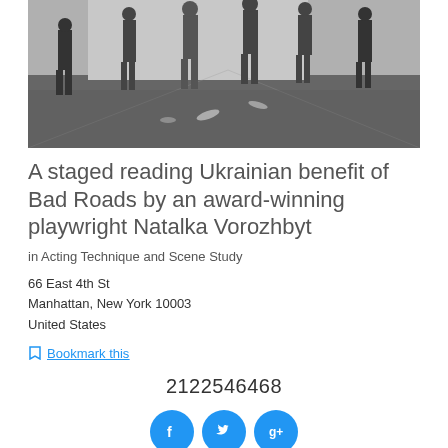[Figure (photo): Black and white photo of people standing in a rehearsal space with wooden floors, appearing to do a staged reading or rehearsal.]
A staged reading Ukrainian benefit of Bad Roads by an award-winning playwright Natalka Vorozhbyt
in Acting Technique and Scene Study
66 East 4th St
Manhattan, New York 10003
United States
Bookmark this
2122546468
[Figure (other): Social media icons: Facebook, Twitter, Google+]